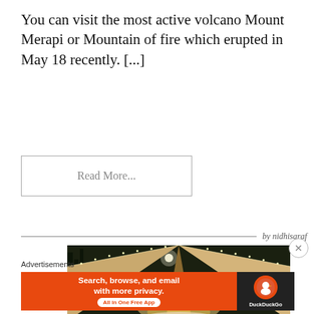You can visit the most active volcano Mount Merapi or Mountain of fire which erupted in May 18 recently. [...]
Read More...
by nidhisaraf
[Figure (photo): Night photo of a glamping tent with fairy lights strung along the entrance, viewed from inside looking up at the tent peak, with trees and a light visible in the background.]
Advertisements
[Figure (infographic): DuckDuckGo advertisement banner: orange background with text 'Search, browse, and email with more privacy.' and 'All in One Free App' button, with DuckDuckGo logo on dark right panel.]